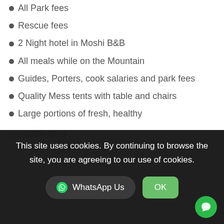All Park fees
Rescue fees
2 Night hotel in Moshi B&B
All meals while on the Mountain
Guides, Porters, cook salaries and park fees
Quality Mess tents with table and chairs
Large portions of fresh, healthy mountain food
This site uses cookies. By continuing to browse the site, you are agreeing to our use of cookies.